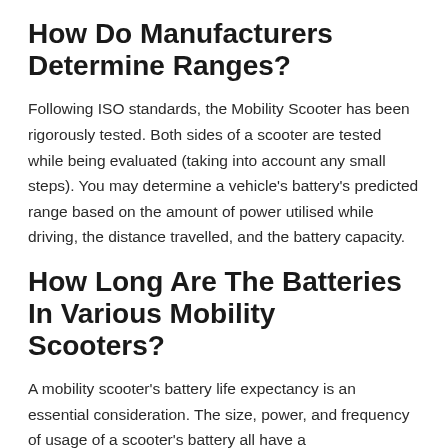How Do Manufacturers Determine Ranges?
Following ISO standards, the Mobility Scooter has been rigorously tested. Both sides of a scooter are tested while being evaluated (taking into account any small steps). You may determine a vehicle's battery's predicted range based on the amount of power utilised while driving, the distance travelled, and the battery capacity.
How Long Are The Batteries In Various Mobility Scooters?
A mobility scooter's battery life expectancy is an essential consideration. The size, power, and frequency of usage of a scooter's battery all have a